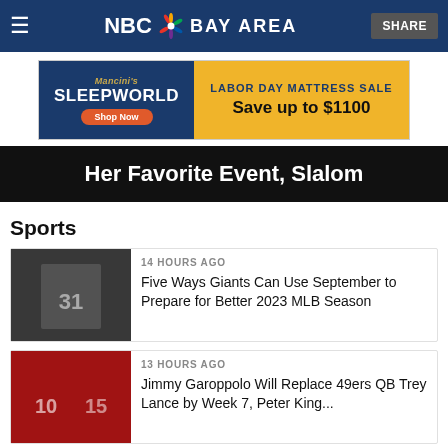NBC Bay Area
[Figure (other): Mancini's Sleepworld advertisement banner – Labor Day Mattress Sale, Save up to $1100]
[Figure (other): Partial hero image strip with text: Her Favorite Event, Slalom]
Sports
[Figure (photo): San Francisco Giants player number 31 walking away from dugout]
14 HOURS AGO
Five Ways Giants Can Use September to Prepare for Better 2023 MLB Season
[Figure (photo): 49ers players number 10 and 15 in red uniforms]
13 HOURS AGO
Jimmy Garoppolo Will Replace 49ers QB Trey Lance by Week 7, Peter King...
Ben Ferguson — Snowboarding, Halfpipe
Ben Ferguson finished on the podium in three of the four